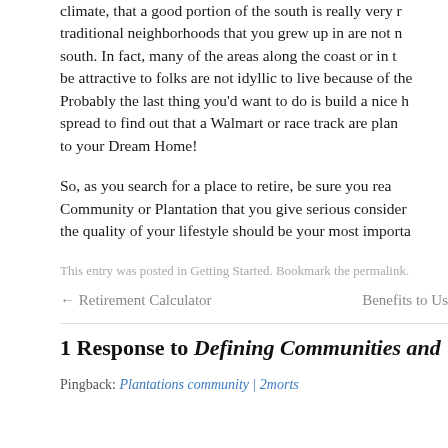climate, that a good portion of the south is really very r... traditional neighborhoods that you grew up in are not n... south. In fact, many of the areas along the coast or in t... be attractive to folks are not idyllic to live because of the... Probably the last thing you'd want to do is build a nice h... spread to find out that a Walmart or race track are plan... to your Dream Home!
So, as you search for a place to retire, be sure you rea... Community or Plantation that you give serious consider... the quality of your lifestyle should be your most importa...
This entry was posted in Getting Started. Bookmark the permalink.
← Retirement Calculator    Benefits to Us...
1 Response to Defining Communities and...
Pingback: Plantations community | 2morts